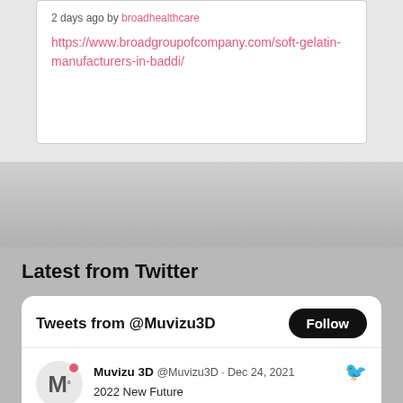2 days ago by broadhealthcare
https://www.broadgroupofcompany.com/soft-gelatin-manufacturers-in-baddi/
Latest from Twitter
Tweets from @Muvizu3D
Muvizu 3D @Muvizu3D · Dec 24, 2021
2022 New Future
[Figure (photo): Twitter post image showing animated characters]